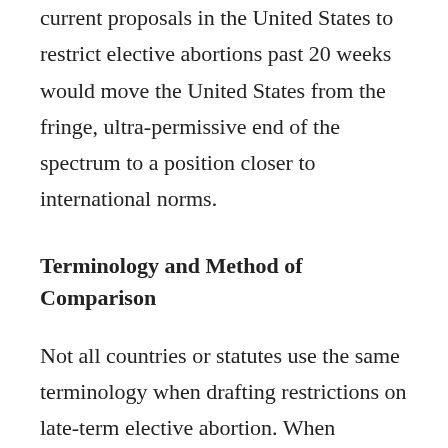current proposals in the United States to restrict elective abortions past 20 weeks would move the United States from the fringe, ultra-permissive end of the spectrum to a position closer to international norms.
Terminology and Method of Comparison
Not all countries or statutes use the same terminology when drafting restrictions on late-term elective abortion. When drafting a restriction on